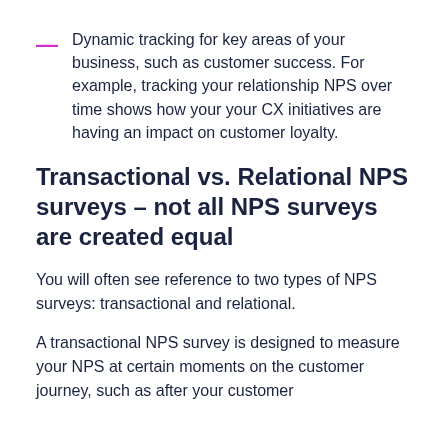Dynamic tracking for key areas of your business, such as customer success. For example, tracking your relationship NPS over time shows how your your CX initiatives are having an impact on customer loyalty.
Transactional vs. Relational NPS surveys – not all NPS surveys are created equal
You will often see reference to two types of NPS surveys: transactional and relational.
A transactional NPS survey is designed to measure your NPS at certain moments on the customer journey, such as after your customer